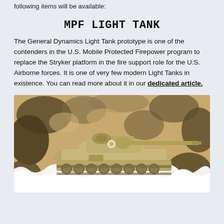following items will be available:
MPF LIGHT TANK
The General Dynamics Light Tank prototype is one of the contenders in the U.S. Mobile Protected Firepower program to replace the Stryker platform in the fire support role for the U.S. Airborne forces. It is one of very few modern Light Tanks in existence. You can read more about it in our dedicated article.
[Figure (photo): Photo of the General Dynamics MPF Light Tank prototype in desert tan color, set against a camouflage-patterned background with torn white paper effect at bottom. The tank features a long gun barrel and multiple road wheels.]